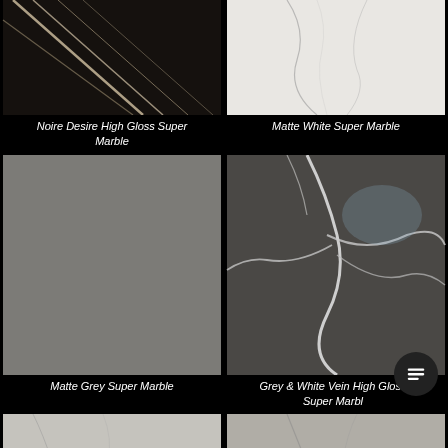[Figure (photo): Dark black marble with white diagonal veins - Noire Desire High Gloss Super Marble]
Noire Desire High Gloss Super Marble
[Figure (photo): White marble with thin grey veins - Matte White Super Marble]
Matte White Super Marble
[Figure (photo): Flat matte grey marble surface - Matte Grey Super Marble]
Matte Grey Super Marble
[Figure (photo): Dark grey marble with white branching veins - Grey & White Vein High Gloss Super Marble]
Grey & White Vein High Gloss Super Marble
[Figure (photo): Light grey marble texture - partial view at bottom]
[Figure (photo): Grey-beige marble texture - partial view at bottom]